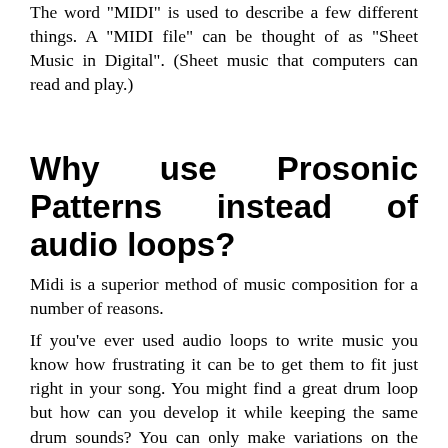The word "MIDI" is used to describe a few different things. A "MIDI file" can be thought of as "Sheet Music in Digital". (Sheet music that computers can read and play.)
Why use Prosonic Patterns instead of audio loops?
Midi is a superior method of music composition for a number of reasons.
If you've ever used audio loops to write music you know how frustrating it can be to get them to fit just right in your song. You might find a great drum loop but how can you develop it while keeping the same drum sounds? You can only make variations on the timbre of the sound itself and that's it.